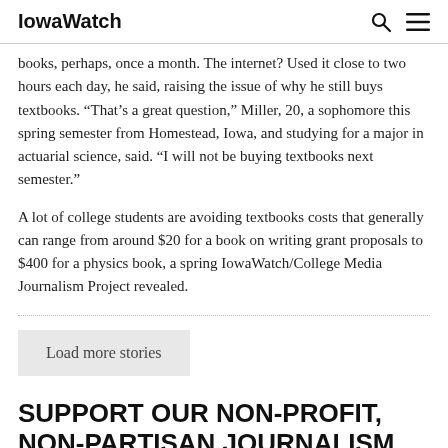IowaWatch
books, perhaps, once a month. The internet? Used it close to two hours each day, he said, raising the issue of why he still buys textbooks. “That’s a great question,” Miller, 20, a sophomore this spring semester from Homestead, Iowa, and studying for a major in actuarial science, said. “I will not be buying textbooks next semester.”
A lot of college students are avoiding textbooks costs that generally can range from around $20 for a book on writing grant proposals to $400 for a physics book, a spring IowaWatch/College Media Journalism Project revealed.
Load more stories
SUPPORT OUR NON-PROFIT, NON-PARTISAN JOURNALISM